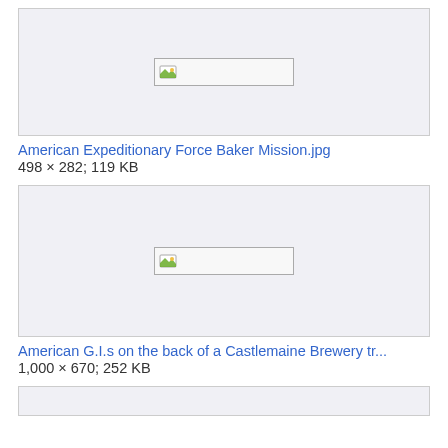[Figure (screenshot): Broken image placeholder box for American Expeditionary Force Baker Mission.jpg]
American Expeditionary Force Baker Mission.jpg
498 × 282; 119 KB
[Figure (screenshot): Broken image placeholder box for American G.I.s on the back of a Castlemaine Brewery tr...]
American G.I.s on the back of a Castlemaine Brewery tr...
1,000 × 670; 252 KB
[Figure (screenshot): Broken image placeholder box (partially visible at bottom)]